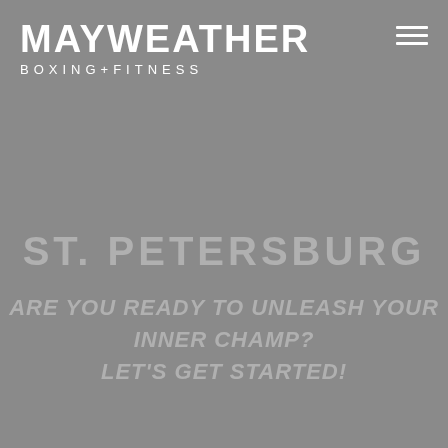[Figure (logo): Mayweather Boxing + Fitness logo: bold white text MAYWEATHER on top line, BOXING+FITNESS in spaced uppercase below]
[Figure (other): Hamburger menu icon: three white horizontal lines stacked, top-right corner]
ST. PETERSBURG
ARE YOU READY TO UNLEASH YOUR INNER CHAMP? LET'S GET STARTED!